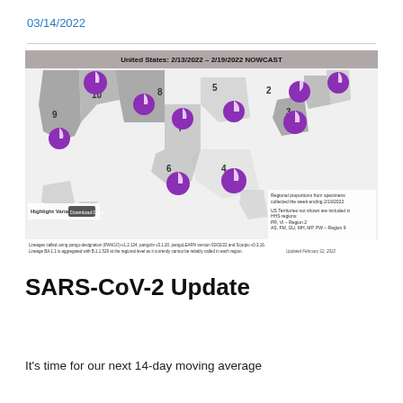03/14/2022
[Figure (map): Map of the United States showing SARS-CoV-2 variant proportions by HHS region for 2/13/2022 - 2/19/2022 NOWCAST. Pie charts overlaid on 10 numbered HHS regions showing purple (Omicron) dominant proportions. Legend and footnotes included.]
SARS-CoV-2 Update
It's time for our next 14-day moving average